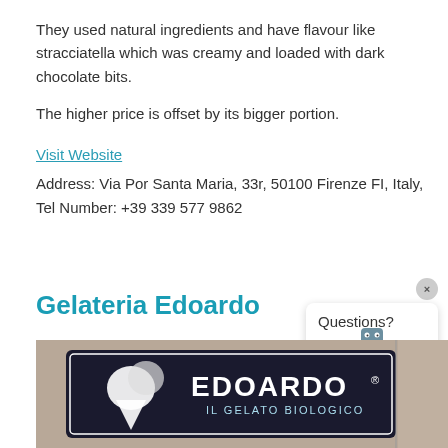They used natural ingredients and have flavour like stracciatella which was creamy and loaded with dark chocolate bits.
The higher price is offset by its bigger portion.
Visit Website
Address: Via Por Santa Maria, 33r, 50100 Firenze FI, Italy, Tel Number: +39 339 577 9862
Gelateria Edoardo
[Figure (photo): Storefront sign for Edoardo il Gelato Biologico, showing a dark sign with a stylized ice cream cone graphic and the word EDOARDO in large white letters with 'IL GELATO BIOLOGICO' beneath it.]